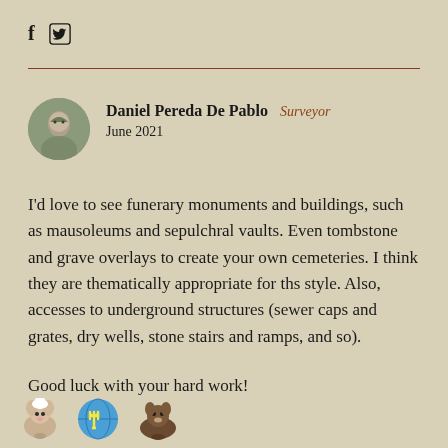[Figure (other): Social media icons: Facebook 'f' and Twitter bird logo]
[Figure (other): Circular avatar photo of Daniel Pereda De Pablo]
Daniel Pereda De Pablo   Surveyor
June 2021
I'd love to see funerary monuments and buildings, such as mausoleums and sepulchral vaults. Even tombstone and grave overlays to create your own cemeteries. I think they are thematically appropriate for ths style. Also, accesses to underground structures (sewer caps and grates, dry wells, stone stairs and ramps, and so).
Good luck with your hard work!
[Figure (illustration): Small emoji-style illustrations at the bottom left: a hamster/mouse, Ukrainian trident symbol on a globe, and a beaver/animal]